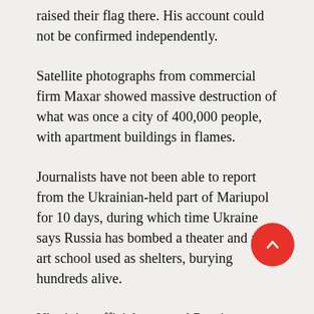raised their flag there. His account could not be confirmed independently.
Satellite photographs from commercial firm Maxar showed massive destruction of what was once a city of 400,000 people, with apartment buildings in flames.
Journalists have not been able to report from the Ukrainian-held part of Mariupol for 10 days, during which time Ukraine says Russia has bombed a theater and an art school used as shelters, burying hundreds alive.
Ukrainian officials accused Russia on Thursday of having forcibly deported 15,000 people from the city to Russia.